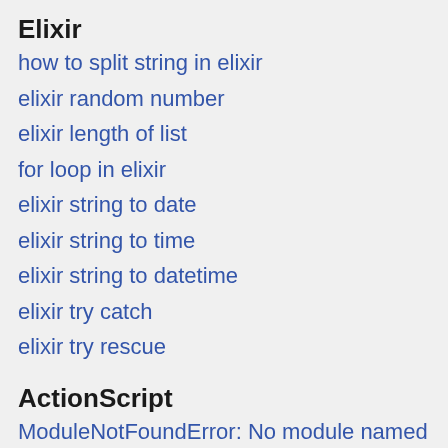Elixir
how to split string in elixir
elixir random number
elixir length of list
for loop in elixir
elixir string to date
elixir string to time
elixir string to datetime
elixir try catch
elixir try rescue
ActionScript
ModuleNotFoundError: No module named 'PySimpleGUI'
TypeError: Cannot read property 'version' of